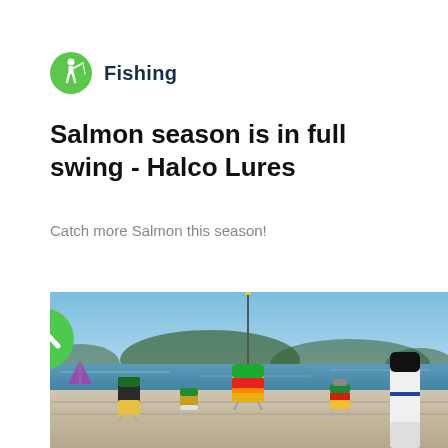Fishing
Salmon season is in full swing - Halco Lures
Catch more Salmon this season!
[Figure (photo): Fishing lures (Halco brand) displayed on a dock or pier ledge with a lake, boats, and trees in the background under a clear blue sky. A green scroll-up button overlays the left side of the image.]